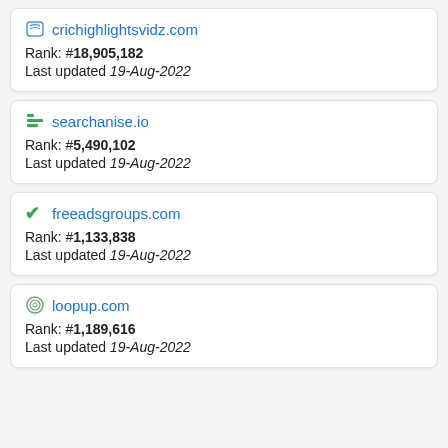crichighlightsvidz.com — Rank: #18,905,182 — Last updated 19-Aug-2022
searchanise.io — Rank: #5,490,102 — Last updated 19-Aug-2022
freeadsgroups.com — Rank: #1,133,838 — Last updated 19-Aug-2022
loopup.com — Rank: #1,189,616 — Last updated 19-Aug-2022